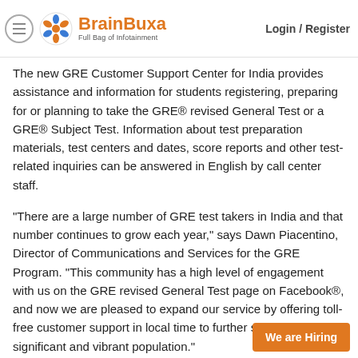BrainBuxa — Full Bag of Infotainment | Login / Register
The new GRE Customer Support Center for India provides assistance and information for students registering, preparing for or planning to take the GRE® revised General Test or a GRE® Subject Test. Information about test preparation materials, test centers and dates, score reports and other test-related inquiries can be answered in English by call center staff.
"There are a large number of GRE test takers in India and that number continues to grow each year," says Dawn Piacentino, Director of Communications and Services for the GRE Program. "This community has a high level of engagement with us on the GRE revised General Test page on Facebook®, and now we are pleased to expand our service by offering toll-free customer support in local time to further serve this significant and vibrant population."
The new GRE Customer Support Center is access...